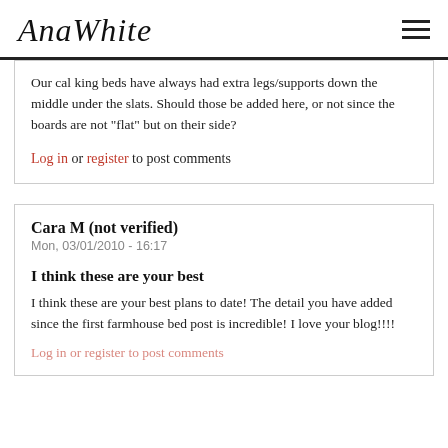AnaWhite
Our cal king beds have always had extra legs/supports down the middle under the slats. Should those be added here, or not since the boards are not "flat" but on their side?
Log in or register to post comments
Cara M (not verified)
Mon, 03/01/2010 - 16:17
I think these are your best
I think these are your best plans to date! The detail you have added since the first farmhouse bed post is incredible! I love your blog!!!!
Log in or register to post comments